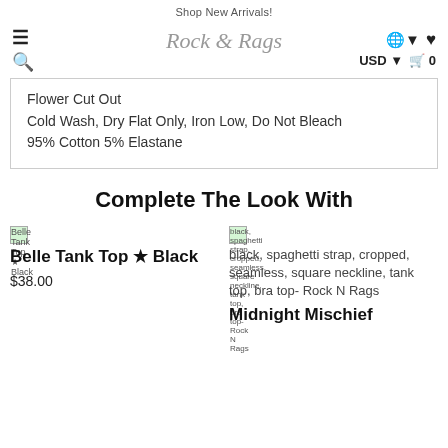Shop New Arrivals!
Flower Cut Out
Cold Wash, Dry Flat Only, Iron Low, Do Not Bleach
95% Cotton 5% Elastane
Complete The Look With
[Figure (photo): Belle Tank Top Black product image thumbnail]
Belle Tank Top ★ Black
$38.00
[Figure (photo): black, spaghetti strap, cropped, seamless, square neckline, tank top, bra top - Rock N Rags product image thumbnail]
black, spaghetti strap, cropped, seamless, square neckline, tank top, bra top- Rock N Rags
Midnight Mischief